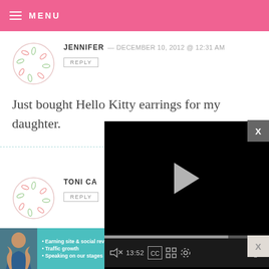MENU
JENNIFER — DECEMBER 10, 2012 @ 12:31 AM
REPLY
Just bought Hello Kitty earrings for my daughter.
[Figure (screenshot): Video player overlay showing black player with play button and controls showing 13:52 timestamp]
TONI CA...
REPLY
The last t... Cardinals... friend. She is a die hard fan and I know
[Figure (infographic): SHE Partner Network advertisement banner with teal background showing bullet points: Earning site & social revenue, Traffic growth, Speaking on our stages. LEARN MORE button.]